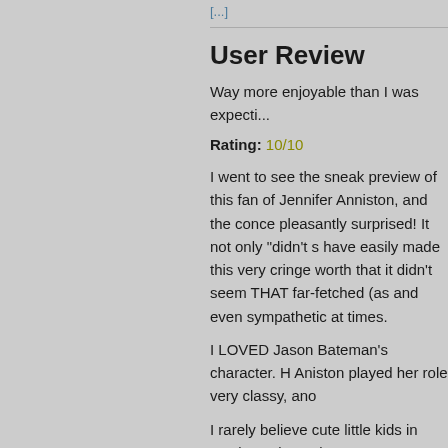[...]
User Review
Way more enjoyable than I was expecti...
Rating: 10/10
I went to see the sneak preview of this fan of Jennifer Anniston, and the conce pleasantly surprised! It not only "didn't s have easily made this very cringe worth that it didn't seem THAT far-fetched (as and even sympathetic at times.
I LOVED Jason Bateman's character. H Aniston played her role very classy, ano
I rarely believe cute little kids in movies going to be a super star one day if he k never overdoing it. His big brown eyes of times), and yet could deliver 'quirk' w teared up, and managed to enjoy every